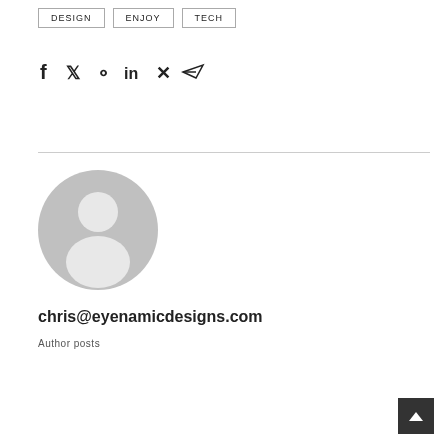DESIGN
ENJOY
TECH
[Figure (infographic): Social sharing icons: Facebook, Twitter, Pinterest, LinkedIn, Xing, Email/Send]
[Figure (illustration): Generic author avatar placeholder - grey circle with person silhouette]
chris@eyenamicdesigns.com
Author posts